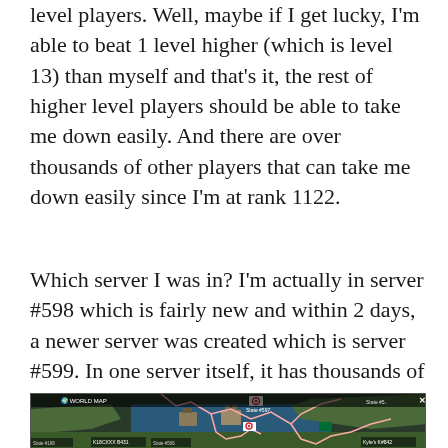level players. Well, maybe if I get lucky, I'm able to beat 1 level higher (which is level 13) than myself and that's it, the rest of higher level players should be able to take me down easily. And there are over thousands of other players that can take me down easily since I'm at rank 1122.
Which server I was in? I'm actually in server #598 which is fairly new and within 2 days, a newer server was created which is server #599. In one server itself, it has thousands of players.
[Figure (screenshot): In-game world map screenshot showing a strategy game map with territories, cities, a South Korean flag marker, server labels like 'State #597', 'State #598', pink/white territory border lines, and various player alliance name labels at the bottom.]